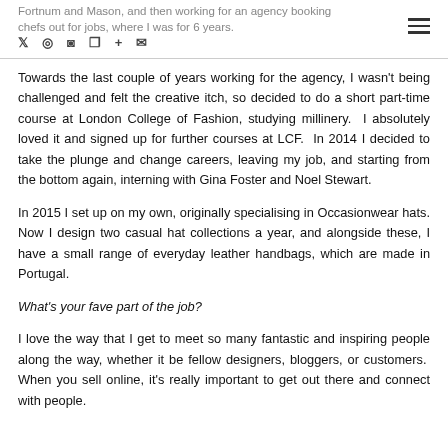Fortnum and Mason, and then working for an agency booking chefs out for jobs, where I was for 6 years.
Towards the last couple of years working for the agency, I wasn't being challenged and felt the creative itch, so decided to do a short part-time course at London College of Fashion, studying millinery. I absolutely loved it and signed up for further courses at LCF. In 2014 I decided to take the plunge and change careers, leaving my job, and starting from the bottom again, interning with Gina Foster and Noel Stewart.
In 2015 I set up on my own, originally specialising in Occasionwear hats. Now I design two casual hat collections a year, and alongside these, I have a small range of everyday leather handbags, which are made in Portugal.
What's your fave part of the job?
I love the way that I get to meet so many fantastic and inspiring people along the way, whether it be fellow designers, bloggers, or customers. When you sell online, it's really important to get out there and connect with people.